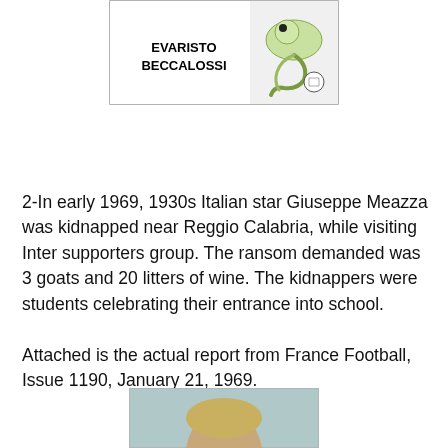[Figure (illustration): A trading card or sticker image showing 'EVARISTO BECCALOSSI' text with a cartoon dragon/serpent illustration on the right side.]
2-In early 1969, 1930s Italian star Giuseppe Meazza was kidnapped near Reggio Calabria, while visiting Inter supporters group. The ransom demanded was 3 goats and 20 litters of wine. The kidnappers were students celebrating their entrance into school.
Attached is the actual report from France Football, Issue 1190, January 21, 1969.
[Figure (photo): A partial photograph of a person's head/face, appears to be a vintage photo, visible at the bottom of the page.]